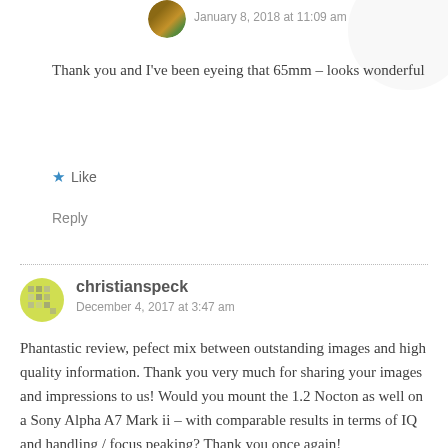January 8, 2018 at 11:09 am
Thank you and I've been eyeing that 65mm – looks wonderful
Like
Reply
christianspeck
December 4, 2017 at 3:47 am
Phantastic review, pefect mix between outstanding images and high quality information. Thank you very much for sharing your images and impressions to us! Would you mount the 1.2 Nocton as well on a Sony Alpha A7 Mark ii – with comparable results in terms of IQ and handling / focus peaking? Thank you once again!